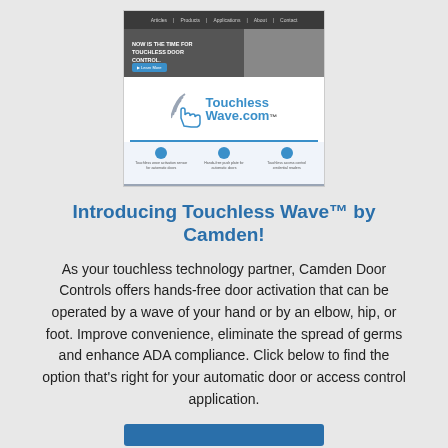[Figure (screenshot): Screenshot of TouchlessWave.com website showing navigation bar, hero image with hands-free door control, Touchless Wave.com logo with hand/wave icon, three feature icons with text, and an Information Library footer bar.]
Introducing Touchless Wave™ by Camden!
As your touchless technology partner, Camden Door Controls offers hands-free door activation that can be operated by a wave of your hand or by an elbow, hip, or foot. Improve convenience, eliminate the spread of germs and enhance ADA compliance. Click below to find the option that's right for your automatic door or access control application.